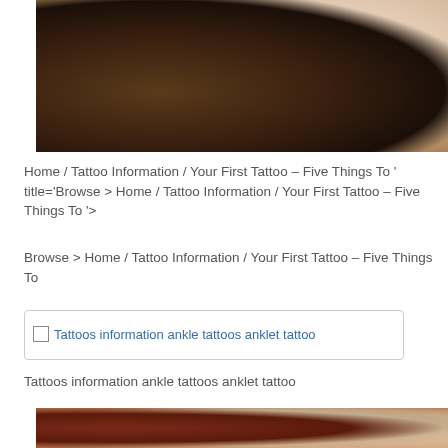[Figure (photo): Close-up photo of a woman's back/shoulder area with a tattoo being applied by a gloved hand with a tattoo needle]
Home / Tattoo Information / Your First Tattoo – Five Things To ' title='Browse > Home / Tattoo Information / Your First Tattoo – Five Things To '>
Browse > Home / Tattoo Information / Your First Tattoo – Five Things To
[Figure (photo): Image placeholder with alt text: Tattoos information ankle tattoos anklet tattoo]
Tattoos information ankle tattoos anklet tattoo
[Figure (photo): Photo of a tattoo being applied to a person's arm, partial view showing tattoo artist equipment]